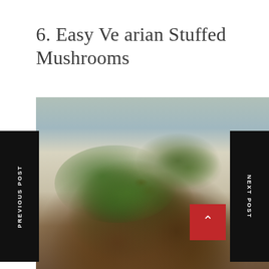6. Easy Ve arian Stuffed Mushrooms
[Figure (photo): Close-up photo of vegetarian stuffed mushrooms filled with spinach, breadcrumbs, and red pepper, topped with white crumbled cheese, on a white plate with a fork.]
PREVIOUS POST
NEXT POST